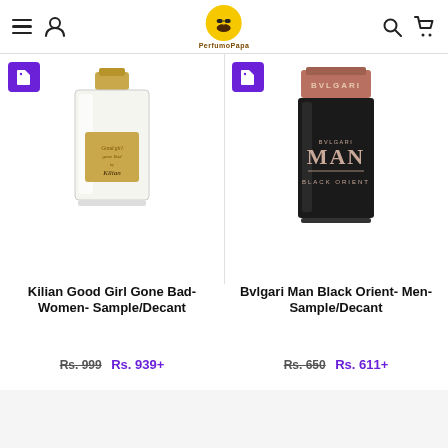PerfumoPapa
[Figure (photo): Kilian Good Girl Gone Bad perfume bottle - clear glass square bottle with gold cap and gold label]
Kilian Good Girl Gone Bad- Women- Sample/Decant
Rs. 999 Rs. 939+
[Figure (photo): Bvlgari Man Black Orient perfume bottle - black rectangular bottle with rose gold cap and Bvlgari branding]
Bvlgari Man Black Orient- Men- Sample/Decant
Rs. 650 Rs. 611+